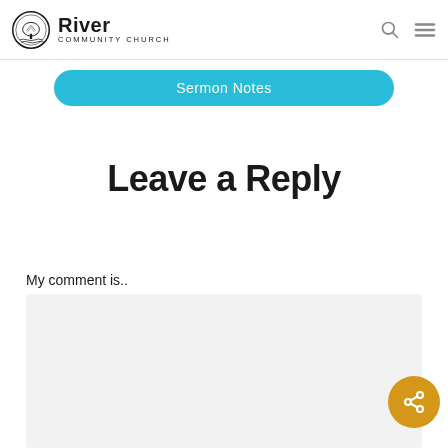River Community Church
[Figure (other): Sermon Notes button - cyan/teal rounded rectangle button with white text]
Leave a Reply
My comment is..
[Figure (other): Light gray comment text area input box with a gold/orange circular share button in the bottom-right corner]